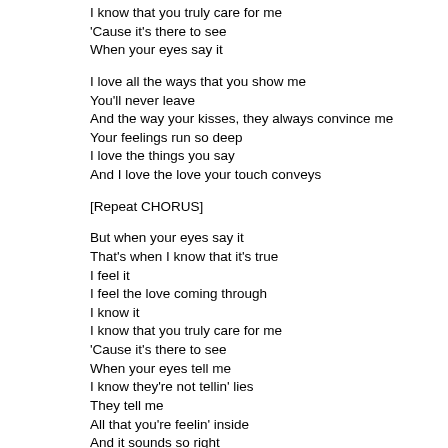I know that you truly care for me
'Cause it's there to see
When your eyes say it
I love all the ways that you show me
You'll never leave
And the way your kisses, they always convince me
Your feelings run so deep
I love the things you say
And I love the love your touch conveys
[Repeat CHORUS]
But when your eyes say it
That's when I know that it's true
I feel it
I feel the love coming through
I know it
I know that you truly care for me
'Cause it's there to see
When your eyes tell me
I know they're not tellin' lies
They tell me
All that you're feelin' inside
And it sounds so right
When your eyes say it, say it
And the words that say take my breath away
No song ever sounded so sweet
I love every word that they say to me